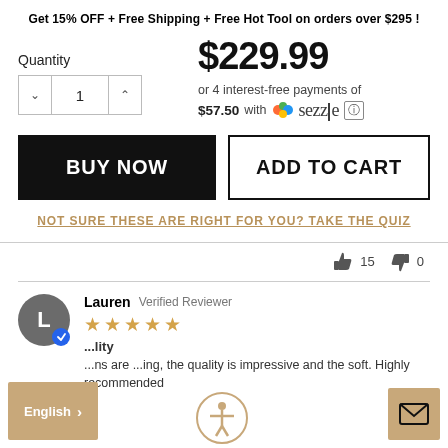Get 15% OFF + Free Shipping + Free Hot Tool on orders over $295 !
Quantity 1  |  $229.99  |  or 4 interest-free payments of $57.50 with Sezzle
BUY NOW
ADD TO CART
NOT SURE THESE ARE RIGHT FOR YOU? TAKE THE QUIZ
👍 15  👎 0
Lauren  Verified Reviewer  ★★★★★  ...lity  ...ns are ...ing, the quality is impressive and the soft. Highly recommended